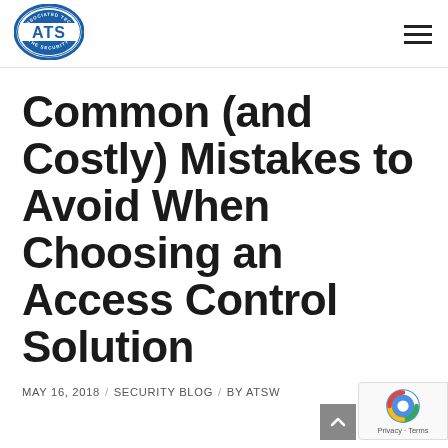[Figure (logo): ATS Associated Technical Services - The Security Professionals oval logo in blue and white]
Common (and Costly) Mistakes to Avoid When Choosing an Access Control Solution
MAY 16, 2018 / SECURITY BLOG / BY ATSW